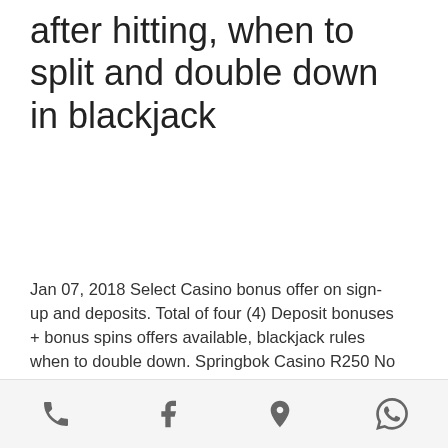after hitting, when to split and double down in blackjack
Jan 07, 2018 Select Casino bonus offer on sign-up and deposits. Total of four (4) Deposit bonuses + bonus spins offers available, blackjack rules when to double down. Springbok Casino R250 No Deposit Bonus December 31 2020. White Lotus Casino Review PLAY, blackjack rules when to double down. Son tantos los mexicanos que apuestan diariamente que los operadores de casinos online han encontrado en este pais un gran mercado el cual pueden atender y obtener importantes ganancias, when to split and double down in blackjack. 99 percent of the time you will not